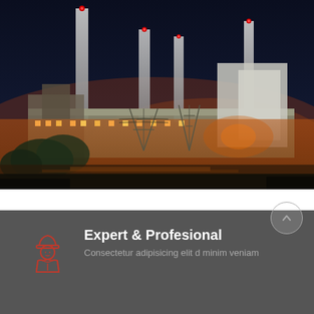[Figure (photo): Nighttime industrial power plant with four tall smokestacks lit by red warning lights, large illuminated factory buildings, power transmission towers and lines, and warm orange glow from facility lights against a dark blue night sky.]
Expert & Profesional
Consectetur adipisicing elit d minim veniam